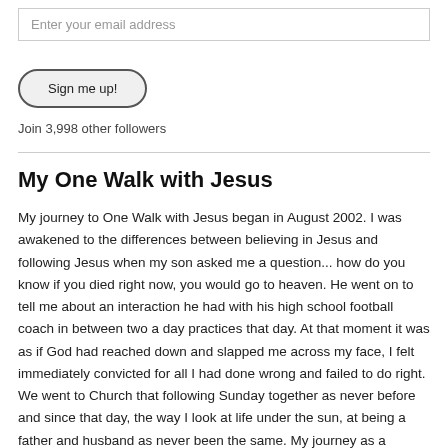Enter your email address
Sign me up!
Join 3,998 other followers
My One Walk with Jesus
My journey to One Walk with Jesus began in August 2002. I was awakened to the differences between believing in Jesus and following Jesus when my son asked me a question... how do you know if you died right now, you would go to heaven. He went on to tell me about an interaction he had with his high school football coach in between two a day practices that day. At that moment it was as if God had reached down and slapped me across my face, I felt immediately convicted for all I had done wrong and failed to do right. We went to Church that following Sunday together as never before and since that day, the way I look at life under the sun, at being a father and husband as never been the same. My journey as a follower of Jesus began. And the desire to be